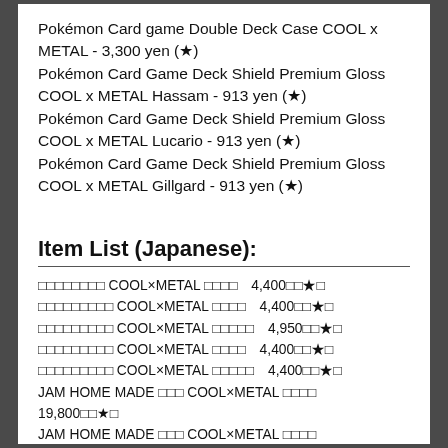Pokémon Card game Double Deck Case COOL x METAL - 3,300 yen (★)
Pokémon Card Game Deck Shield Premium Gloss COOL x METAL Hassam - 913 yen (★)
Pokémon Card Game Deck Shield Premium Gloss COOL x METAL Lucario - 913 yen (★)
Pokémon Card Game Deck Shield Premium Gloss COOL x METAL Gillgard - 913 yen (★)
Item List (Japanese):
□□□□□□□□ COOL×METAL □□□□　4,400□□★□
□□□□□□□□□ COOL×METAL □□□□　4,400□□★□
□□□□□□□□□ COOL×METAL □□□□□　4,950□□★□
□□□□□□□□□ COOL×METAL □□□□　4,400□□★□
□□□□□□□□□ COOL×METAL □□□□□　4,400□□★□
JAM HOME MADE □□□ COOL×METAL □□□□ 19,800□□★□
JAM HOME MADE □□□ COOL×METAL □□□□